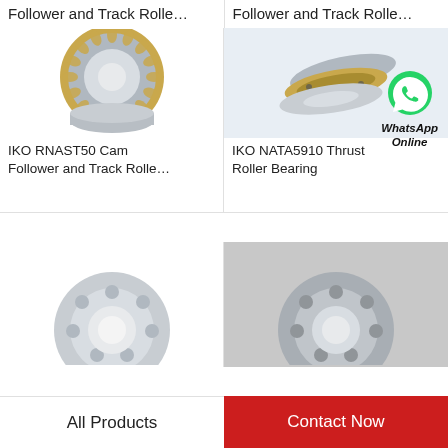Follower and Track Rolle…
Follower and Track Rolle…
[Figure (photo): IKO RNAST50 Cam Follower and Track Roller bearing - metallic silver and gold colored roller bearing]
IKO RNAST50 Cam Follower and Track Rolle…
[Figure (photo): IKO NATA5910 Thrust Roller Bearing - two flat disc-shaped thrust roller bearing components, silver/gold colored, with WhatsApp Online overlay icon]
IKO NATA5910 Thrust Roller Bearing
[Figure (photo): Partial view of a bearing product - silver/chrome colored ball bearing, bottom left]
[Figure (photo): Partial view of a bearing product - silver/chrome colored ball bearing, bottom right]
All Products
Contact Now